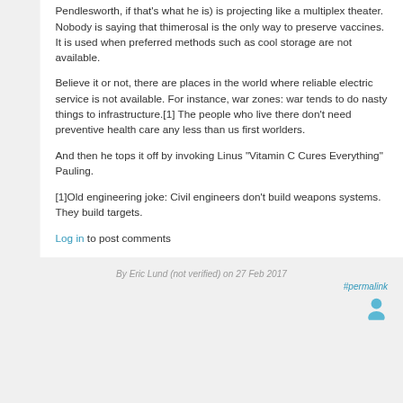Pendlesworth, if that's what he is) is projecting like a multiplex theater. Nobody is saying that thimerosal is the only way to preserve vaccines. It is used when preferred methods such as cool storage are not available.
Believe it or not, there are places in the world where reliable electric service is not available. For instance, war zones: war tends to do nasty things to infrastructure.[1] The people who live there don't need preventive health care any less than us first worlders.
And then he tops it off by invoking Linus "Vitamin C Cures Everything" Pauling.
[1]Old engineering joke: Civil engineers don't build weapons systems. They build targets.
Log in to post comments
By Eric Lund (not verified) on 27 Feb 2017
#permalink